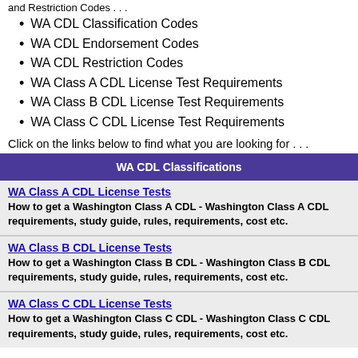and Restriction Codes . . .
WA CDL Classification Codes
WA CDL Endorsement Codes
WA CDL Restriction Codes
WA Class A CDL License Test Requirements
WA Class B CDL License Test Requirements
WA Class C CDL License Test Requirements
Click on the links below to find what you are looking for . . .
WA CDL Classifications
WA Class A CDL License Tests
How to get a Washington Class A CDL - Washington Class A CDL requirements, study guide, rules, requirements, cost etc.
WA Class B CDL License Tests
How to get a Washington Class B CDL - Washington Class B CDL requirements, study guide, rules, requirements, cost etc.
WA Class C CDL License Tests
How to get a Washington Class C CDL - Washington Class C CDL requirements, study guide, rules, requirements, cost etc.